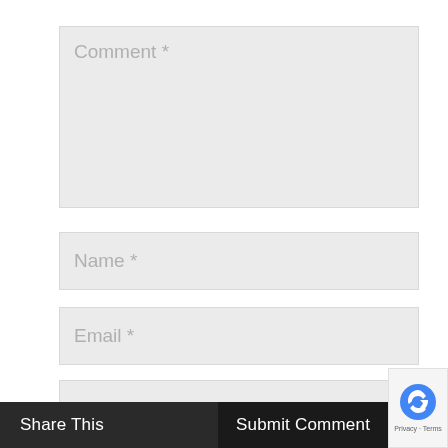Comment *
Name *
Email *
Website
Share This
Submit Comment